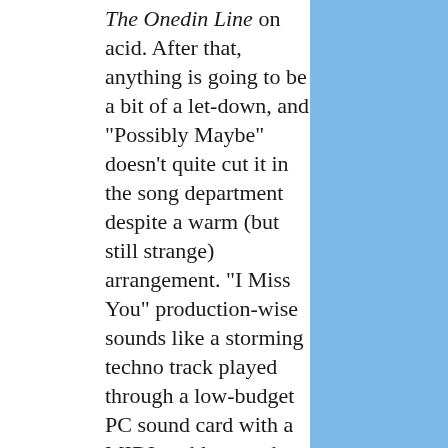The Onedin Line on acid. After that, anything is going to be a bit of a let-down, and "Possibly Maybe" doesn't quite cut it in the song department despite a warm (but still strange) arrangement. "I Miss You" production-wise sounds like a storming techno track played through a low-budget PC sound card with a MIDI problem, and that's fine. Then it turns briefly into a 1984 Hunters And Collectors track, and then you understand. This isn't supposed to make sense. Understanding that helps a lot with this album, and especially with the closing two tracks, Cover Me and the bizarrely appealing Headphones.If it's dance music you want, you're in the wrong place here. But if you been missing Björk's journeys to Planet Strange, you'll be very happy to know that she is most assuredly back. This time, though, she's got a nice big